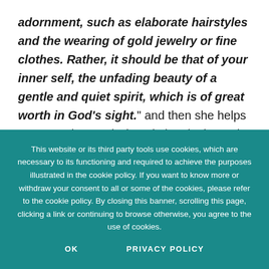adornment, such as elaborate hairstyles and the wearing of gold jewelry or fine clothes. Rather, it should be that of your inner self, the unfading beauty of a gentle and quiet spirit, which is of great worth in God's sight." and then she helps you to understand what clothes look good on you, what colors, and what accessories will work best for you. Then she will help you to makeover your closet! It's
This website or its third party tools use cookies, which are necessary to its functioning and required to achieve the purposes illustrated in the cookie policy. If you want to know more or withdraw your consent to all or some of the cookies, please refer to the cookie policy. By closing this banner, scrolling this page, clicking a link or continuing to browse otherwise, you agree to the use of cookies.
OK   PRIVACY POLICY